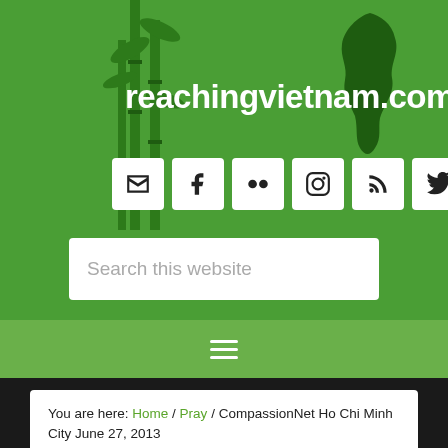reachingvietnam.com
[Figure (screenshot): Social media icons: email, Facebook, Flickr, Instagram, RSS, Twitter, Vimeo]
[Figure (screenshot): Search box with placeholder text 'Search this website']
[Figure (infographic): Hamburger menu icon on lighter green navigation bar]
You are here: Home / Pray / CompassionNet Ho Chi Minh City June 27, 2013